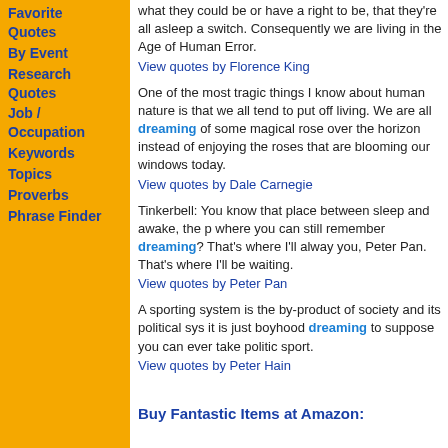Favorite Quotes
By Event
Research Quotes
Job / Occupation
Keywords
Topics
Proverbs
Phrase Finder
what they could be or have a right to be, that they're all asleep a switch. Consequently we are living in the Age of Human Error.
View quotes by Florence King
One of the most tragic things I know about human nature is that we all tend to put off living. We are all dreaming of some magical rose over the horizon instead of enjoying the roses that are blooming our windows today.
View quotes by Dale Carnegie
Tinkerbell: You know that place between sleep and awake, the place where you can still remember dreaming? That's where I'll always love you, Peter Pan. That's where I'll be waiting.
View quotes by Peter Pan
A sporting system is the by-product of society and its political sys it is just boyhood dreaming to suppose you can ever take politic sport.
View quotes by Peter Hain
Buy Fantastic Items at Amazon: